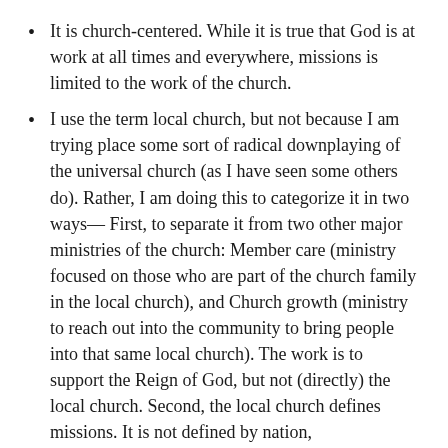It is church-centered. While it is true that God is at work at all times and everywhere, missions is limited to the work of the church.
I use the term local church, but not because I am trying place some sort of radical downplaying of the universal church (as I have seen some others do). Rather, I am doing this to categorize it in two ways— First, to separate it from two other major ministries of the church: Member care (ministry focused on those who are part of the church family in the local church), and Church growth (ministry to reach out into the community to bring people into that same local church). The work is to support the Reign of God, but not (directly) the local church. Second, the local church defines missions. It is not defined by nation,